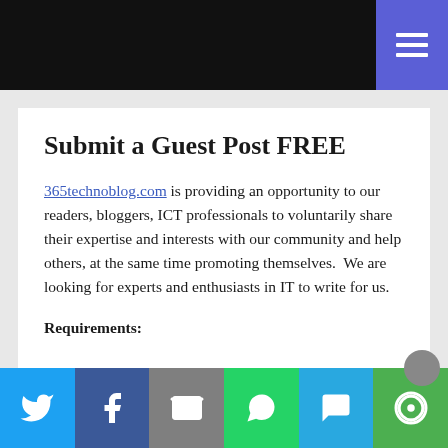Submit a Guest Post FREE
365technoblog.com is providing an opportunity to our readers, bloggers, ICT professionals to voluntarily share their expertise and interests with our community and help others, at the same time promoting themselves.  We are looking for experts and enthusiasts in IT to write for us.
Requirements:
Twitter | Facebook | Email | WhatsApp | SMS | More